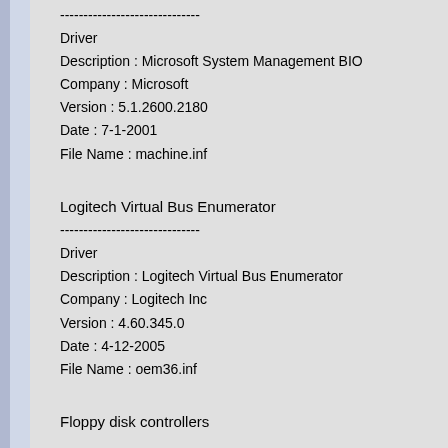------------------------------
Driver
Description : Microsoft System Management BIO
Company : Microsoft
Version : 5.1.2600.2180
Date : 7-1-2001
File Name : machine.inf
Logitech Virtual Bus Enumerator
------------------------------
Driver
Description : Logitech Virtual Bus Enumerator
Company : Logitech Inc
Version : 4.60.345.0
Date : 4-12-2005
File Name : oem36.inf
Floppy disk controllers
Standard floppy disk controller
------------------------------
Driver
Description : Standard floppy disk controller